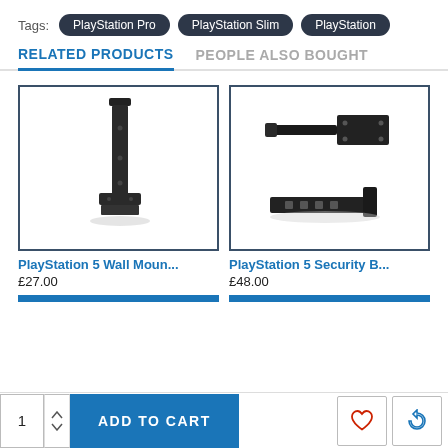Tags: PlayStation Pro | PlayStation Slim | PlayStation
RELATED PRODUCTS | PEOPLE ALSO BOUGHT
[Figure (photo): PlayStation 5 Wall Mount product image - a black vertical wall mount bracket]
PlayStation 5 Wall Moun...
£27.00
[Figure (photo): PlayStation 5 Security Bracket product image - two black shelf bracket components]
PlayStation 5 Security B...
£48.00
1 ADD TO CART [heart icon] [refresh icon]